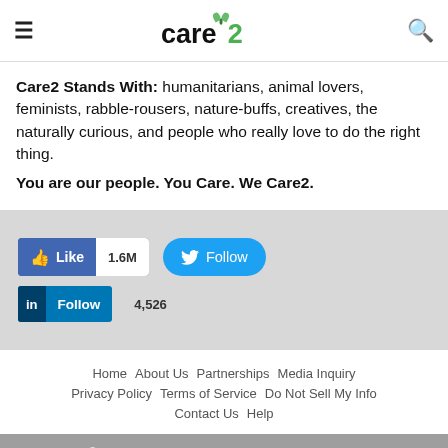Care2
Care2 Stands With: humanitarians, animal lovers, feminists, rabble-rousers, nature-buffs, creatives, the naturally curious, and people who really love to do the right thing. You are our people. You Care. We Care2.
[Figure (infographic): Social media follow buttons: Facebook Like 1.6M, Twitter Follow, LinkedIn Follow 4,526]
Home  About Us  Partnerships  Media Inquiry  Privacy Policy  Terms of Service  Do Not Sell My Info  Contact Us  Help  Copyright © 2022 Care2.com, Inc. and its licensors.All rights reserved